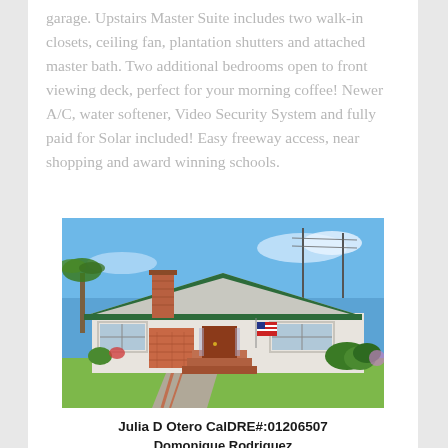garage. Upstairs Master Suite includes two walk-in closets, ceiling fan, plantation shutters and attached master bath. Two additional bedrooms open to front viewing deck, perfect for your morning coffee! Newer A/C, water softener, Video Security System and fully paid for Solar included! Easy freeway access, near shopping and award winning schools.
[Figure (photo): Exterior photo of a single-story ranch-style home with green roof trim, brick chimney, red/wood front door, brick accent walls, driveway, and landscaping under a clear blue sky.]
Julia D Otero CalDRE#:01206507
Domonique Rodriguez
CalDRE#:01493439 Berkshire Hathaway